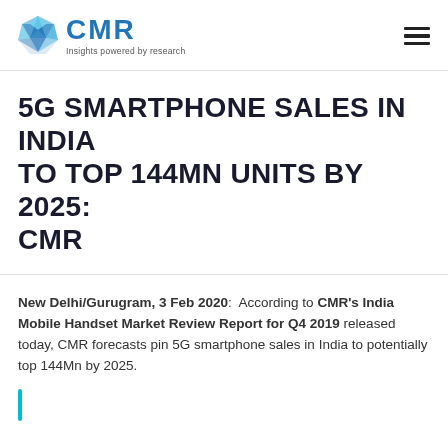CMR — Insights powered by research
5G SMARTPHONE SALES IN INDIA TO TOP 144MN UNITS BY 2025: CMR
New Delhi/Gurugram, 3 Feb 2020:  According to CMR's India Mobile Handset Market Review Report for Q4 2019 released today, CMR forecasts pin 5G smartphone sales in India to potentially top 144Mn by 2025.